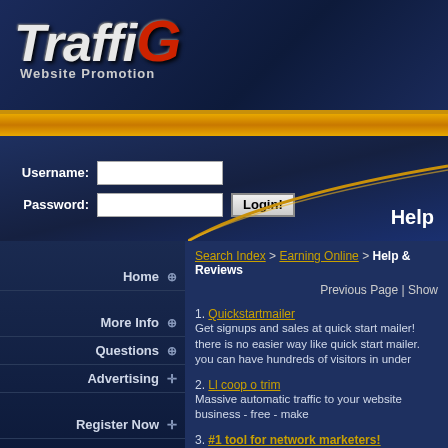[Figure (logo): TrafficG Website Promotion logo — stylized italic text with red G and grey lettering on dark blue background]
Username: [input field]  Password: [input field]  Login! button
Help
Search Index > Earning Online > Help & Reviews
Previous Page | Show
1. Quickstartmailer — Get signups and sales at quick start mailer! there is no easier way like quick start mailer. you can have hundreds of visitors in unde
2. Ll coop o trim — Massive automatic traffic to your website business - free - make
3. #1 tool for network marketers! — There is a secret will save you years of failure and frustration in guarantee your success - if you use it! you have to realize that fa
4. [non-latin text] — This site is one of the best to get information about the thing you
5. +advatar — Si
Home
More Info
Questions
Advertising
Register Now
Login
Help
Contact Us